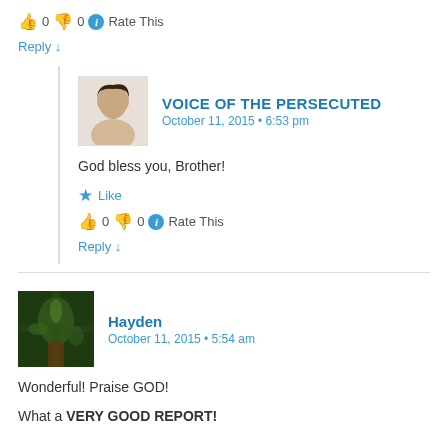👍 0 👎 0 ℹ Rate This
Reply ↓
VOICE OF THE PERSECUTED
October 11, 2015 • 6:53 pm
God bless you, Brother!
★ Like
👍 0 👎 0 ℹ Rate This
Reply ↓
Hayden
October 11, 2015 • 5:54 am
Wonderful! Praise GOD!
What a VERY GOOD REPORT!